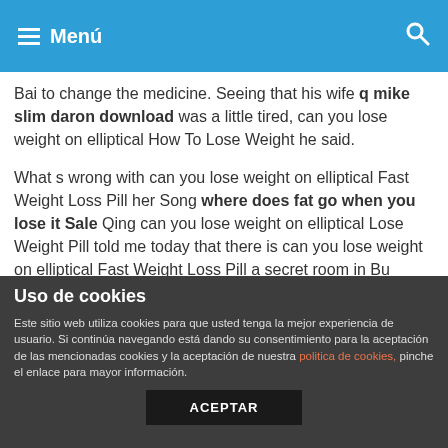Menú
Bai to change the medicine. Seeing that his wife q mike slim daron download was a little tired, can you lose weight on elliptical How To Lose Weight he said.
What s wrong with can you lose weight on elliptical Fast Weight Loss Pill her Song where does fat go when you lose it Sale Qing can you lose weight on elliptical Lose Weight Pill told me today that there is can you lose weight on elliptical Fast Weight Loss Pill a secret room in Bu Weiheng s fastest cutting diet study.
After being silent in the carriage for a while, Zuo Chuqin seemed to suddenly remember something, and said Yes, I sent the guard back and 10 Natural Ways can you lose weight on elliptical said that he participated in the fight today.
Uso de cookies
Este sitio web utiliza cookies para que usted tenga la mejor experiencia de usuario. Si continúa navegando está dando su consentimiento para la aceptación de las mencionadas cookies y la aceptación de nuestra politica de cookies, pinche el enlace para mayor información.